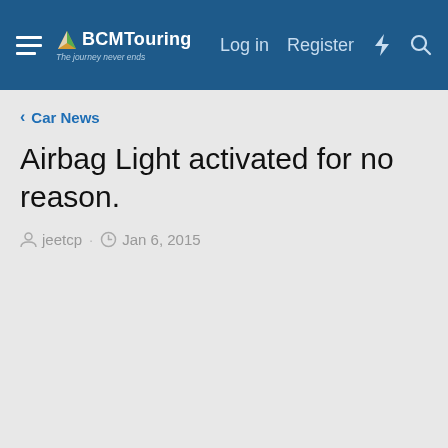BCMTouring — Log in  Register
Car News
Airbag Light activated for no reason.
jeetcp · Jan 6, 2015